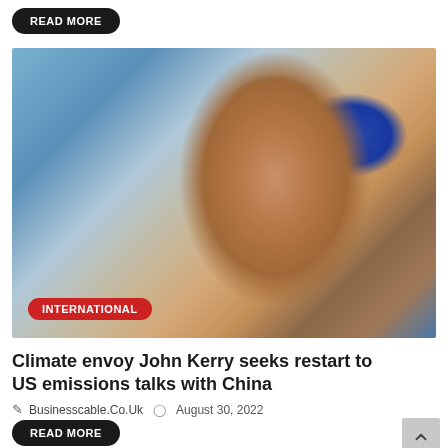READ MORE
[Figure (photo): Close-up photo of John Kerry, a man with brown-grey hair wearing a blue shirt, with blurred architectural columns in the background. An 'INTERNATIONAL' category badge overlays the bottom-left of the image.]
Climate envoy John Kerry seeks restart to US emissions talks with China
Businesscable.Co.Uk  August 30, 2022
READ MORE